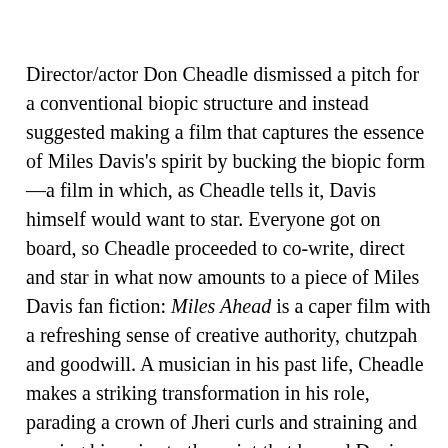Director/actor Don Cheadle dismissed a pitch for a conventional biopic structure and instead suggested making a film that captures the essence of Miles Davis's spirit by bucking the biopic form—a film in which, as Cheadle tells it, Davis himself would want to star. Everyone got on board, so Cheadle proceeded to co-write, direct and star in what now amounts to a piece of Miles Davis fan fiction: Miles Ahead is a caper film with a refreshing sense of creative authority, chutzpah and goodwill. A musician in his past life, Cheadle makes a striking transformation in his role, parading a crown of Jheri curls and straining and rasping his voice to the point that he and Davis are indistinguishable. In that spirit, Miles Ahead is massively entertaining but guided with a shaky hand, at times overly stylized and others stiflingly formulaic, a film whose quest for innovation within its genre may have outpaced its ability to deliver. During a rehearsal scene